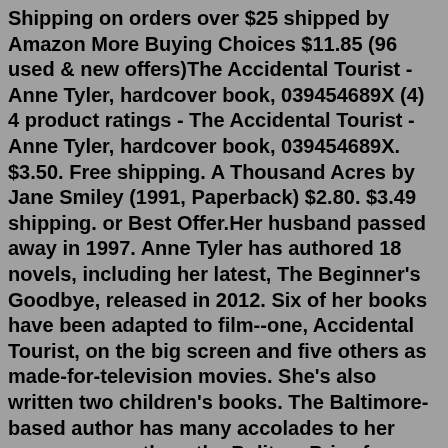Shipping on orders over $25 shipped by Amazon More Buying Choices $11.85 (96 used & new offers)The Accidental Tourist - Anne Tyler, hardcover book, 039454689X (4) 4 product ratings - The Accidental Tourist - Anne Tyler, hardcover book, 039454689X. $3.50. Free shipping. A Thousand Acres by Jane Smiley (1991, Paperback) $2.80. $3.49 shipping. or Best Offer.Her husband passed away in 1997. Anne Tyler has authored 18 novels, including her latest, The Beginner's Goodbye, released in 2012. Six of her books have been adapted to film--one, Accidental Tourist, on the big screen and five others as made-for-television movies. She's also written two children's books. The Baltimore-based author has many accolades to her name, among them the Pulitzer Prize for Breathing Lessons (1988), a Booker shortlisting for A Spool of Blue Thread (2015), the National Book...The Associated Press NEW YORK -- After more than 20 books, Anne Tyler still finds ways to challenge herself. Her new novel, "Redhead By the Side of the Road," is, of course, set in her longtime